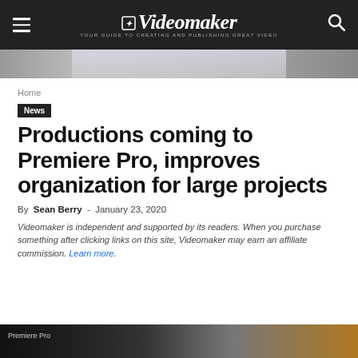Videomaker — YOUR GUIDE TO CREATING AND PUBLISHING GREAT VIDEO
[Figure (photo): Top partial image of camera/video equipment against light background]
Home
News
Productions coming to Premiere Pro, improves organization for large projects
By Sean Berry - January 23, 2020
Videomaker is independent and supported by its readers. When you purchase something after clicking links on this site, Videomaker may earn an affiliate commission. Learn more.
[Figure (screenshot): Partial screenshot of Adobe Premiere Pro interface at bottom of page]